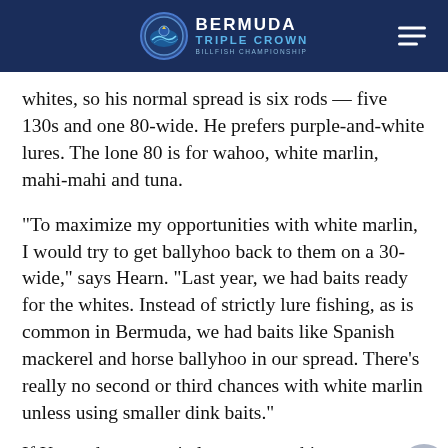Bermuda Triple Crown Billfish Championship
whites, so his normal spread is six rods — five 130s and one 80-wide. He prefers purple-and-white lures. The lone 80 is for wahoo, white marlin, mahi-mahi and tuna.
“To maximize my opportunities with white marlin, I would try to get ballyhoo back to them on a 30-wide,” says Hearn. “Last year, we had baits ready for the whites. Instead of strictly lure fishing, as is common in Bermuda, we had baits like Spanish mackerel and horse ballyhoo in our spread. There’s really no second or third chances with white marlin unless using smaller dink baits.”
If Kennedy were strictly to target white